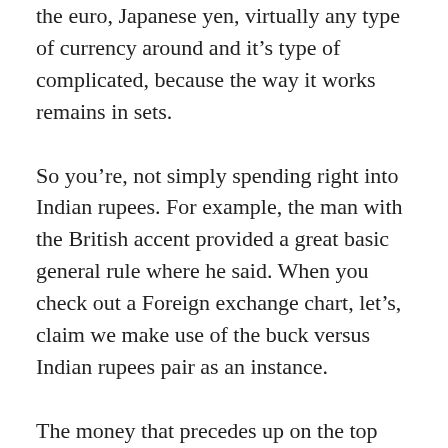the euro, Japanese yen, virtually any type of currency around and it's type of complicated, because the way it works remains in sets.
So you're, not simply spending right into Indian rupees. For example, the man with the British accent provided a great basic general rule where he said. When you check out a Foreign exchange chart, let's, claim we make use of the buck versus Indian rupees pair as an instance.
The money that precedes up on the top below is the one you believe is gon na rise and also likewise the various other one. You believe will decline, so if I were to buy into this pair, I would be saying that I believe the US buck will raise in value against the Indian rupee, and also if I did that at this kind, right here gotten in is some time passed and Then I really did not seem like this holds true anymore.